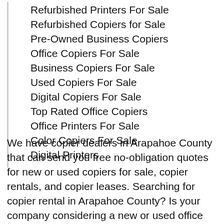Refurbished Printers For Sale
Refurbished Copiers for Sale
Pre-Owned Business Copiers
Office Copiers For Sale
Business Copiers For Sale
Used Copiers For Sale
Digital Copiers For Sale
Top Rated Office Copiers
Office Printers For Sale
Color Copiers For Sale
Digital Printers
We have copier dealers in Arapahoe County that can send you free no-obligation quotes for new or used copiers for sale, copier rentals, and copier leases. Searching for copier rental in Arapahoe County? Is your company considering a new or used office copier? As you know, a premium high-quality business copier